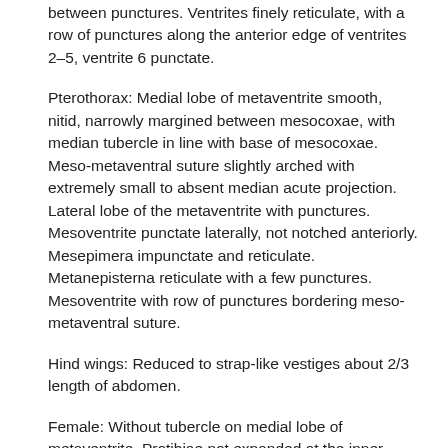between punctures. Ventrites finely reticulate, with a row of punctures along the anterior edge of ventrites 2–5, ventrite 6 punctate.
Pterothorax: Medial lobe of metaventrite smooth, nitid, narrowly margined between mesocoxae, with median tubercle in line with base of mesocoxae. Meso-metaventral suture slightly arched with extremely small to absent median acute projection. Lateral lobe of the metaventrite with punctures. Mesoventrite punctate laterally, not notched anteriorly. Mesepimera impunctate and reticulate. Metanepisterna reticulate with a few punctures. Mesoventrite with row of punctures bordering meso-metaventral suture.
Hind wings: Reduced to strap-like vestiges about 2/3 length of abdomen.
Female: Without tubercle on medial lobe of metaventrite. Protibiae not expanded at the inner apical angle with longer apical spur, ridge on underside with crenulations larger and bearing setae. Mesotibiae